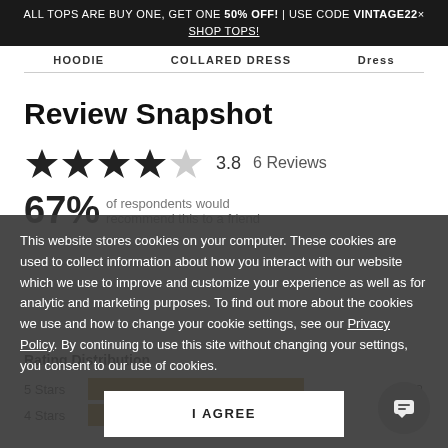ALL TOPS ARE BUY ONE, GET ONE 50% OFF! | USE CODE VINTAGE22 × SHOP TOPS!
HOODIE   COLLARED DRESS   Dress
Review Snapshot
[Figure (other): 3.8 star rating with 4 filled stars and 1 empty star, showing 6 Reviews]
67% of respondents would recommend this to a friend
This website stores cookies on your computer. These cookies are used to collect information about how you interact with our website which we use to improve and customize your experience as well as for analytic and marketing purposes. To find out more about the cookies we use and how to change your cookie settings, see our Privacy Policy. By continuing to use this site without changing your settings, you consent to our use of cookies.
I AGREE
Rating Distribution
| Stars | Bar | Count |
| --- | --- | --- |
| 5 Stars |  | 3 |
| 4 Stars |  | 1 |